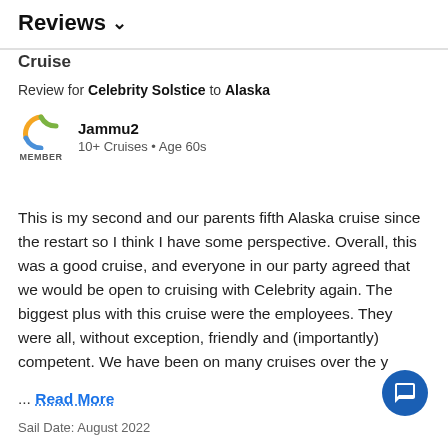Reviews ∨
Cruise
Review for Celebrity Solstice to Alaska
Jammu2
10+ Cruises • Age 60s
This is my second and our parents fifth Alaska cruise since the restart so I think I have some perspective. Overall, this was a good cruise, and everyone in our party agreed that we would be open to cruising with Celebrity again. The biggest plus with this cruise were the employees. They were all, without exception, friendly and (importantly) competent. We have been on many cruises over the y
... Read More
Sail Date: August 2022